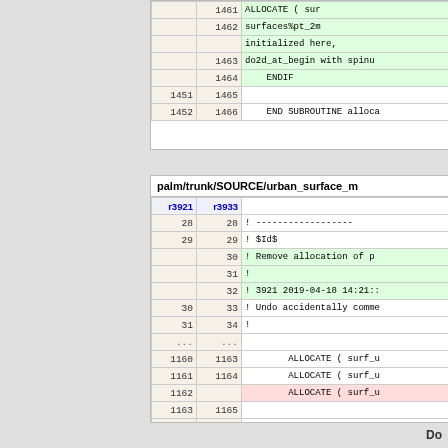|  |  | code |
| --- | --- | --- |
|  | 1461 | ALLOCATE ( sur |
|  | 1462 | surfaces%pt_2m |
|  |  | initialized here, |
|  | 1463 | do2d_at_begin with spinu |
|  | 1464 | ENDIF |
| 1451 | 1465 |  |
| 1452 | 1466 | END SUBROUTINE alloca |
| r3921 | r3933 | code |
| --- | --- | --- |
| 28 | 28 | ! ------------------ |
| 29 | 29 | ! $Id$ |
|  | 30 | ! Remove allocation of p |
|  | 31 | ! |
|  | 32 | ! 3921 2019-04-18 14:21:: |
| 30 | 33 | ! Undo accidentally comme |
| 31 | 34 | ! |
| ... | ... |  |
| 1160 | 1163 | ALLOCATE ( surf_u |
| 1161 | 1164 | ALLOCATE ( surf_u |
| 1162 |  | ALLOCATE ( surf_u |
| 1163 | 1165 |  |
| 1164 | 1166 | ! |
Do